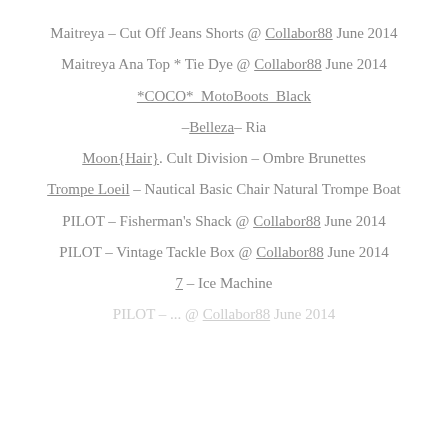Maitreya  – Cut Off Jeans Shorts @ Collabor88 June 2014
Maitreya Ana Top * Tie Dye @ Collabor88 June 2014
*COCO*_MotoBoots_Black
–Belleza– Ria
Moon{Hair}. Cult Division – Ombre Brunettes
Trompe Loeil – Nautical Basic Chair Natural Trompe Boat
PILOT – Fisherman's Shack @ Collabor88 June 2014
PILOT – Vintage  Tackle Box @ Collabor88 June 2014
7 – Ice Machine
PILOT – ... @ Collabor88 June 2014